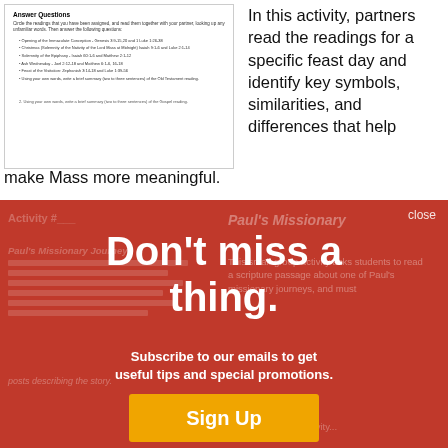[Figure (screenshot): Document thumbnail showing 'Answer Questions' worksheet with bullet points listing feast day readings and questions]
In this activity, partners read the readings for a specific feast day and identify key symbols, similarities, and differences that help make Mass more meaningful.
[Figure (infographic): Red promotional overlay with 'Don't miss a thing.' headline and 'Subscribe to our emails to get useful tips and special promotions.' subtext with Sign Up button. Background shows faded content about Paul's Missionary journeys and Miracles.]